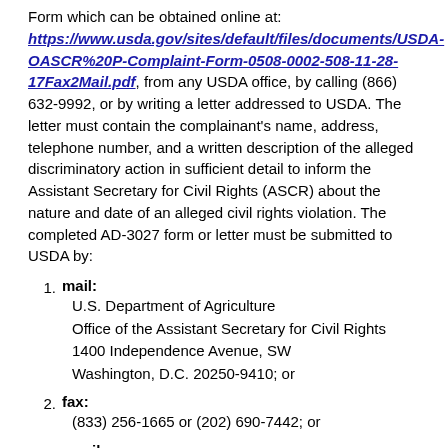Form which can be obtained online at: https://www.usda.gov/sites/default/files/documents/USDA-OASCR%20P-Complaint-Form-0508-0002-508-11-28-17Fax2Mail.pdf, from any USDA office, by calling (866) 632-9992, or by writing a letter addressed to USDA. The letter must contain the complainant's name, address, telephone number, and a written description of the alleged discriminatory action in sufficient detail to inform the Assistant Secretary for Civil Rights (ASCR) about the nature and date of an alleged civil rights violation. The completed AD-3027 form or letter must be submitted to USDA by:
1. mail: U.S. Department of Agriculture; Office of the Assistant Secretary for Civil Rights; 1400 Independence Avenue, SW; Washington, D.C. 20250-9410; or
2. fax: (833) 256-1665 or (202) 690-7442; or
3. email: program.intake@usda.gov